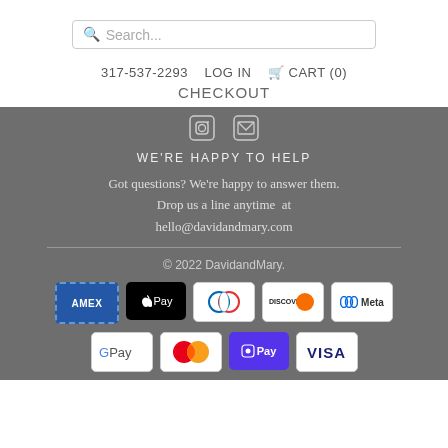Search...
317-537-2293  LOG IN  CART (0)
CHECKOUT
[Figure (illustration): Instagram and email social media icons in white outline on gray background]
WE'RE HAPPY TO HELP
Got questions? We're happy to answer them. Drop us a line anytime  at hello@davidandmary.com
© 2022 DavidandMary.
[Figure (illustration): Payment method logos: American Express, Apple Pay, Diners Club, Discover, Meta Pay, Google Pay, Mastercard, Shop Pay, Visa]